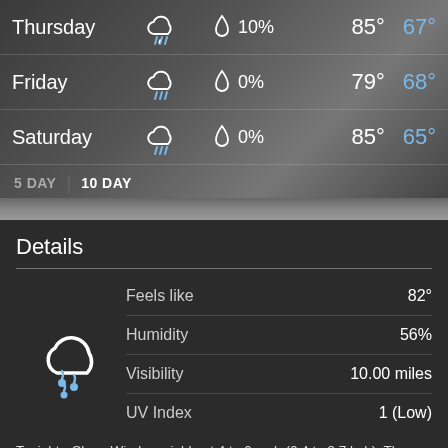| Day | Condition | Precip | High | Low |
| --- | --- | --- | --- | --- |
| Thursday | thunderstorm | 10% | 85° | 67° |
| Friday | thunderstorm | 0% | 79° | 68° |
| Saturday | thunderstorm | 0% | 85° | 65° |
5 DAY | 10 DAY
Details
[Figure (illustration): Cloud with rain drops icon (weather icon for current conditions)]
| Detail | Value |
| --- | --- |
| Feels like | 82° |
| Humidity | 56% |
| Visibility | 10.00 miles |
| UV Index | 1 (Low) |
Tonight - Clear. Winds variable at 4 to 6 mph (6.4 to 9.7 kph). The overnight low will be 64 °F (17.8 °C).
Today - Partly cloudy with a high of 88 °F (31.1 °C). Winds variable at 2 to 6 mph (3.2 to 9.7 kph).